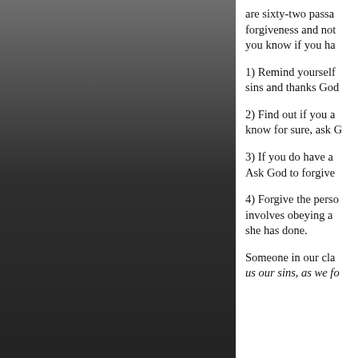[Figure (photo): Dark gray gradient panel occupying the left portion of the page]
are sixty-two passages about forgiveness and not… you know if you ha…
1) Remind yourself… sins and thanks Go…
2) Find out if you a… know for sure, ask G…
3) If you do have a… Ask God to forgive…
4) Forgive the person… involves obeying a… she has done.
Someone in our cla… us our sins, as we fo…